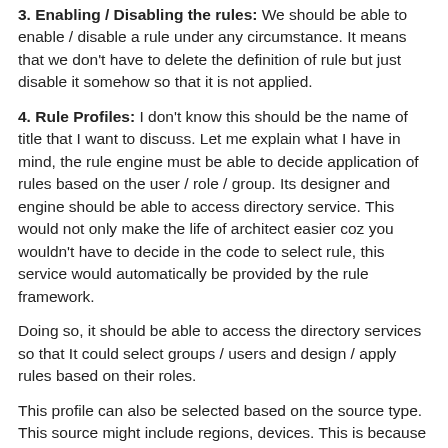3. Enabling / Disabling the rules: We should be able to enable / disable a rule under any circumstance. It means that we don't have to delete the definition of rule but just disable it somehow so that it is not applied.
4. Rule Profiles: I don't know this should be the name of title that I want to discuss. Let me explain what I have in mind, the rule engine must be able to decide application of rules based on the user / role / group. Its designer and engine should be able to access directory service. This would not only make the life of architect easier coz you wouldn't have to decide in the code to select rule, this service would automatically be provided by the rule framework.
Doing so, it should be able to access the directory services so that It could select groups / users and design / apply rules based on their roles.
This profile can also be selected based on the source type. This source might include regions, devices. This is because certain regions and countries might have different rules e.g. financial and our rule framework must be able to see the